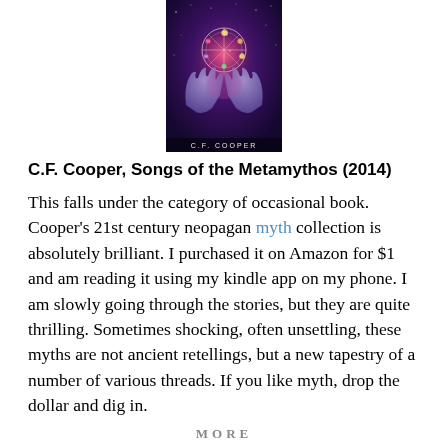[Figure (photo): Book cover of 'Songs of the Metamythos' by C.F. Cooper — shows two glowing purple hands cupping a cosmic/astrological symbol against a dark purple background with stars. Author name 'C.F. COOPER' visible at the bottom of the cover.]
C.F. Cooper, Songs of the Metamythos (2014)
This falls under the category of occasional book. Cooper's 21st century neopagan myth collection is absolutely brilliant. I purchased it on Amazon for $1 and am reading it using my kindle app on my phone. I am slowly going through the stories, but they are quite thrilling. Sometimes shocking, often unsettling, these myths are not ancient retellings, but a new tapestry of a number of various threads. If you like myth, drop the dollar and dig in.
MORE